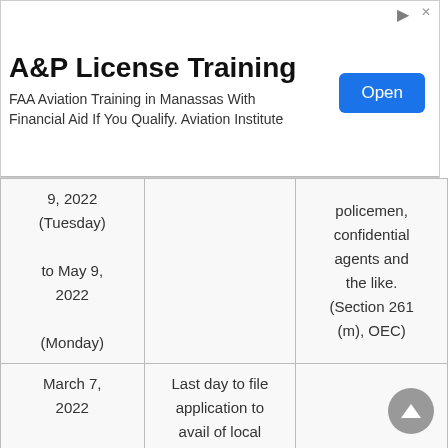[Figure (screenshot): Advertisement banner for A&P License Training. Title: 'A&P License Training'. Body: 'FAA Aviation Training in Manassas With Financial Aid If You Qualify. Aviation Institute'. Blue 'Open' button on right.]
| Date | Activity | Notes |
| --- | --- | --- |
| 9, 2022 (Tuesday) to May 9, 2022 (Monday) |  | policemen, confidential agents and the like. (Section 261 (m), OEC) |
| March 7, 2022 (Monday) | Last day to file application to avail of local absentee voting. |  |